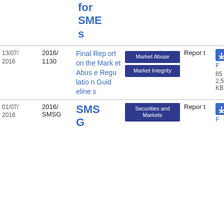| Date | Reference | Title | Tags | Type | File |
| --- | --- | --- | --- | --- | --- |
|  |  | for SMEs |  |  |  |
| 13/07/2016 | 2016/1130 | Final Report on the Market Abuse Regulation Guidelines | Market Abuse
Market Integrity | Report | PDF
85
2.59 KB |
| 01/07/2016 | 2016/SMSG | SMSG | Securities and Markets | Report | PDF |